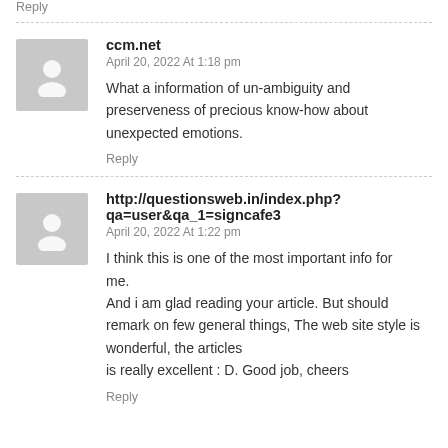Reply
ccm.net
April 20, 2022 At 1:18 pm
What a information of un-ambiguity and preserveness of precious know-how about unexpected emotions.
Reply
http://questionsweb.in/index.php?qa=user&qa_1=signcafe3
April 20, 2022 At 1:22 pm
I think this is one of the most important info for me. And i am glad reading your article. But should remark on few general things, The web site style is wonderful, the articles is really excellent : D. Good job, cheers
Reply